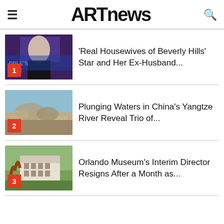ARTnews
[Figure (photo): Woman in black outfit at People's Choice event with blue signage backdrop, numbered badge 1]
'Real Housewives of Beverly Hills' Star and Her Ex-Husband...
[Figure (photo): Rocky formation along Yangtze River with water and exposed rocks, numbered badge 2]
Plunging Waters in China's Yangtze River Reveal Trio of...
[Figure (photo): Orlando Museum exterior with sculpture in foreground, numbered badge 3]
Orlando Museum's Interim Director Resigns After a Month as...